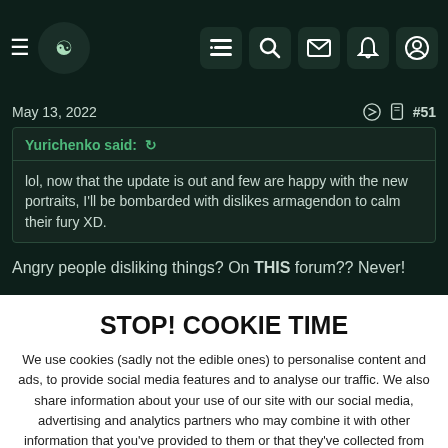Forum navigation header with hamburger menu, logo, list icon, search icon, mail icon, bell icon, user icon
May 13, 2022   #51
Yurichenko said: ↺

lol, now that the update is out and few are happy with the new portraits, I'll be bombarded with dislikes armagendon to calm their fury XD.
Angry people disliking things? On THIS forum?? Never!
STOP! COOKIE TIME
We use cookies (sadly not the edible ones) to personalise content and ads, to provide social media features and to analyse our traffic. We also share information about your use of our site with our social media, advertising and analytics partners who may combine it with other information that you've provided to them or that they've collected from your use of their services. You consent to our cookies if you continue to use this website.
✔ ACCEPT